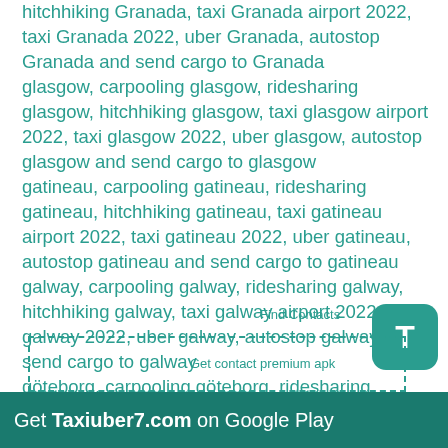hitchhiking Granada, taxi Granada airport 2022, taxi Granada 2022, uber Granada, autostop Granada and send cargo to Granada
glasgow, carpooling glasgow, ridesharing glasgow, hitchhiking glasgow, taxi glasgow airport 2022, taxi glasgow 2022, uber glasgow, autostop glasgow and send cargo to glasgow
gatineau, carpooling gatineau, ridesharing gatineau, hitchhiking gatineau, taxi gatineau airport 2022, taxi gatineau 2022, uber gatineau, autostop gatineau and send cargo to gatineau
galway, carpooling galway, ridesharing galway, hitchhiking galway, taxi galway airport 2022, taxi galway 2022, uber galway, autostop galway and send cargo to galway
göteborg, carpooling göteborg, ridesharing göteborg, hitchhiking göteborg, taxi göteborg airport 2022, taxi göteborg 2022, uber göteborg, autostop göteborg and send cargo to göteborg
goa, carpooling goa, ridesharing goa, hitchhiking goa, taxi goa airport 2022, taxi goa 2022, uber goa, autostop goa and send cargo to goa
[Figure (other): Teal rounded square button with white letter T]
[Figure (other): Dashed teal outlined rectangle with Find Contacts and Get contact premium apk text]
Get Taxiuber7.com on Google Play